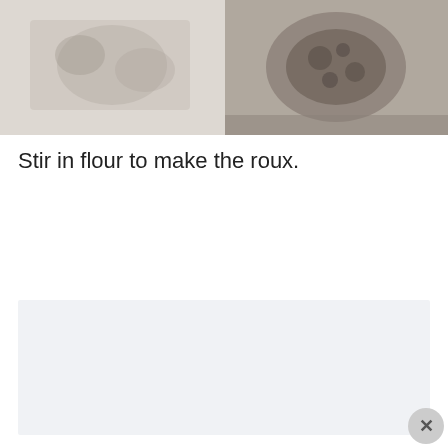[Figure (photo): Two-panel photo showing cooking process — left panel shows a lighter/blurred food preparation scene, right panel shows a darker overhead view of ingredients or a dish being prepared in a pan or bowl.]
Stir in flour to make the roux.
[Figure (other): Advertisement placeholder box with light gray/blue background.]